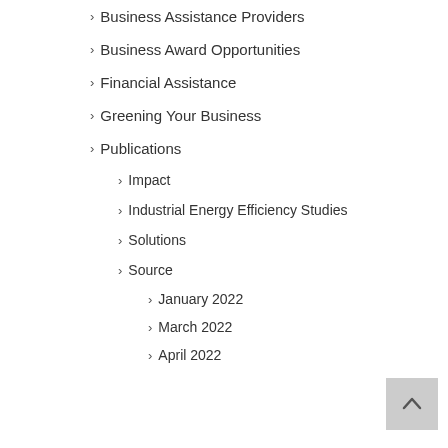Business Assistance Providers
Business Award Opportunities
Financial Assistance
Greening Your Business
Publications
Impact
Industrial Energy Efficiency Studies
Solutions
Source
January 2022
March 2022
April 2022